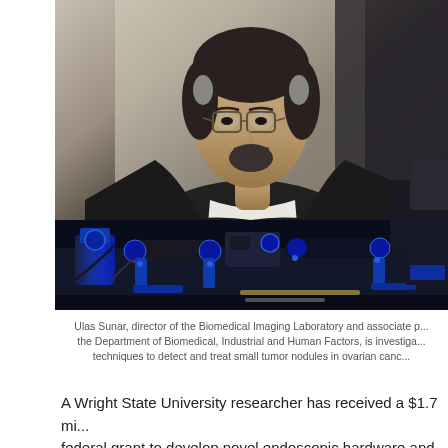[Figure (photo): Portrait photo of Ulas Sunar, a man with glasses, dark hair and goatee wearing a black blazer and white shirt, seated in front of laboratory optical equipment including blue optomechanical components and mounts on a table.]
Ulas Sunar, director of the Biomedical Imaging Laboratory and associate p... the Department of Biomedical, Industrial and Human Factors, is investiga... techniques to detect and treat small tumor nodules in ovarian canc...
A Wright State University researcher has received a $1.7 mi... federal grant to develop novel endoscopic hardware and alg...